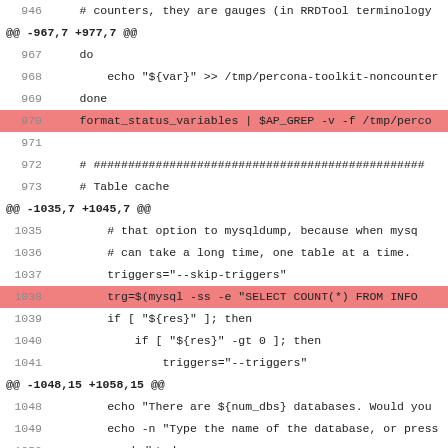946    # counters, they are gauges (in RRDTool terminology
@@ -967,7 +977,7 @@
967    do
968        echo "${var}" >> /tmp/percona-toolkit-noncounter
969    done
970    format_status_variables | $AP_GREP -v -f /tmp/perco (highlighted)
971
972    # ################################################
973    # Table cache
@@ -1035,7 +1045,7 @@
1035        # that option to mysqldump, because when mysq
1036        # can take a long time, one table at a time.
1037        triggers="--skip-triggers"
1038        trg=$(mysql -ss -e "SELECT COUNT(*) FROM INFO (highlighted)
1039        if [ "${res}" ]; then
1040            if [ "${res}" -gt 0 ]; then
1041                triggers="--triggers"
@@ -1048,15 +1058,15 @@
1048        echo "There are ${num_dbs} databases.  Would you
1049        echo -n "Type the name of the database, or press
1050        read dbtodump
1051        mysqldump --no-data --skip-comments \ (highlighted)
1052            --skip-add-locks --skip-add-drop-table --comp
1053            --skip-lock-all-tables --skip-lock-tables --s
1054        ${trg_arg} "$@" ${dbtodump:--all-databases} (highlighted)